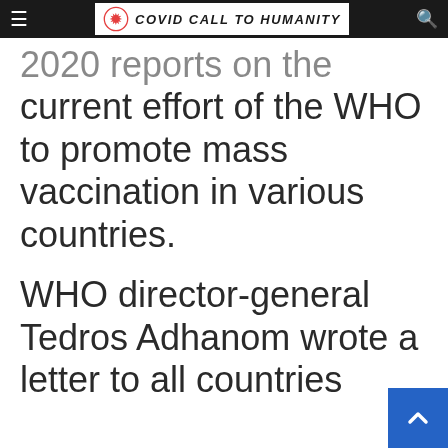COVID CALL TO HUMANITY
2020 reports on the current effort of the WHO to promote mass vaccination in various countries.
WHO director-general Tedros Adhanom wrote a letter to all countries